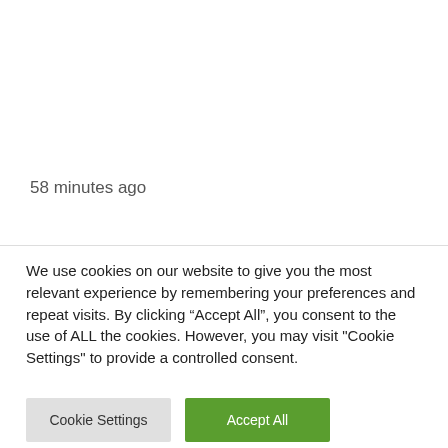58 minutes ago
We use cookies on our website to give you the most relevant experience by remembering your preferences and repeat visits. By clicking “Accept All”, you consent to the use of ALL the cookies. However, you may visit "Cookie Settings" to provide a controlled consent.
Cookie Settings
Accept All